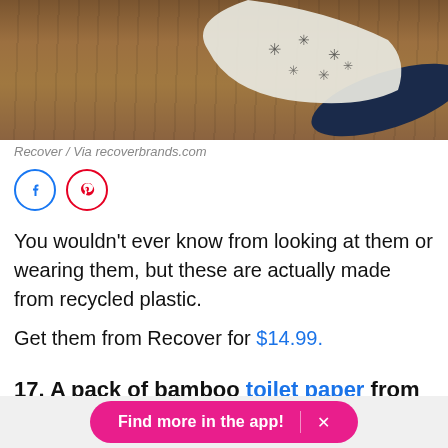[Figure (photo): Photo of socks/cloth with snowflake/tree pattern on a wooden surface, against a dark blue background, shot from above]
Recover / Via recoverbrands.com
[Figure (infographic): Facebook and Pinterest social share icon buttons]
You wouldn't ever know from looking at them or wearing them, but these are actually made from recycled plastic.
Get them from Recover for $14.99.
17. A pack of bamboo toilet paper from a company that donates 50% of their profits to build toilets for those in need.
Find more in the app!